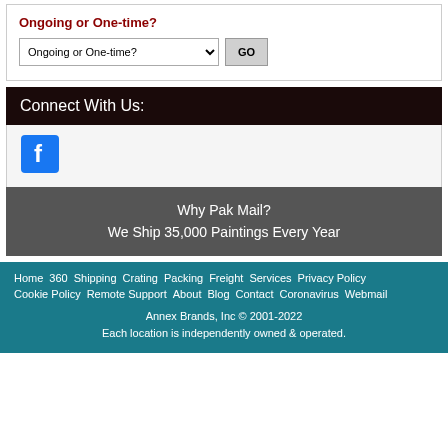Ongoing or One-time?
Ongoing or One-time? [dropdown] GO
Connect With Us:
[Figure (logo): Facebook logo icon, blue square with white f]
Why Pak Mail?
We Ship 35,000 Paintings Every Year
Home · 360 · Shipping · Crating · Packing · Freight · Services · Privacy Policy · Cookie Policy · Remote Support · About · Blog · Contact · Coronavirus · Webmail
Annex Brands, Inc © 2001-2022
Each location is independently owned & operated.